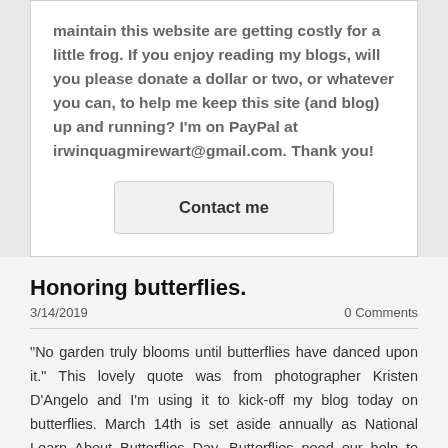maintain this website are getting costly for a little frog. If you enjoy reading my blogs, will you please donate a dollar or two, or whatever you can, to help me keep this site (and blog) up and running? I'm on PayPal at irwinquagmirewart@gmail.com. Thank you!
Contact me
Honoring butterflies.
3/14/2019
0 Comments
"No garden truly blooms until butterflies have danced upon it." This lovely quote was from photographer Kristen D'Angelo and I'm using it to kick-off my blog today on butterflies. March 14th is set aside annually as National Learn About Butterflies Day. Butterflies need our help to survive as they rely on flowers and other natural sources for survival. We can help